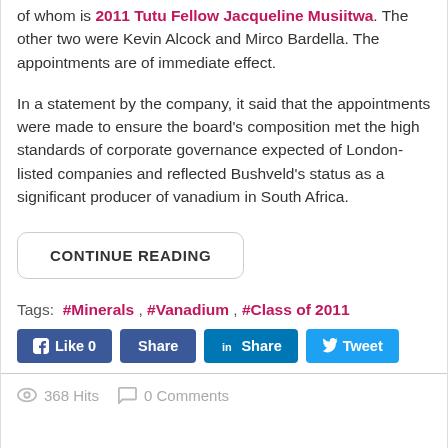of whom is 2011 Tutu Fellow Jacqueline Musiitwa. The other two were Kevin Alcock and Mirco Bardella. The appointments are of immediate effect.
In a statement by the company, it said that the appointments were made to ensure the board's composition met the high standards of corporate governance expected of London-listed companies and reflected Bushveld's status as a significant producer of vanadium in South Africa.
CONTINUE READING
Tags:  #Minerals , #Vanadium , #Class of 2011
Like 0  Share  Share  Tweet
368 Hits   0 Comments